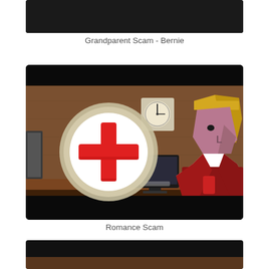[Figure (screenshot): Partially visible dark video thumbnail at the top of the page (Grandparent Scam - Bernie)]
Grandparent Scam - Bernie
[Figure (illustration): Video thumbnail showing an animated scene with a red cross medical symbol on a computer monitor and a stylized cartoon blonde woman character sitting at a desk in a brown room with a clock on the wall. Scene represents a Romance Scam.]
Romance Scam
[Figure (screenshot): Partially visible dark video thumbnail at the bottom of the page]